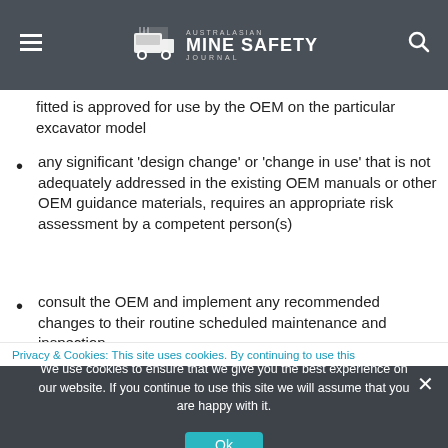Australasian Mine Safety Journal
fitted is approved for use by the OEM on the particular excavator model
any significant 'design change' or 'change in use' that is not adequately addressed in the existing OEM manuals or other OEM guidance materials, requires an appropriate risk assessment by a competent person(s)
consult the OEM and implement any recommended changes to their routine scheduled maintenance and inspection
Privacy & Cookies: This site uses cookies. By continuing to use this
We use cookies to ensure that we give you the best experience on our website. If you continue to use this site we will assume that you are happy with it.